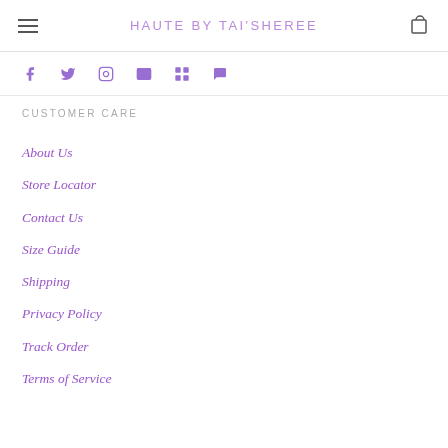HAUTE BY TAI'SHEREE
[Figure (other): Social media icons row: Facebook, Twitter, Instagram, Email/Pinterest, LinkedIn, Snapchat/other — all in purple]
CUSTOMER CARE
About Us
Store Locator
Contact Us
Size Guide
Shipping
Privacy Policy
Track Order
Terms of Service